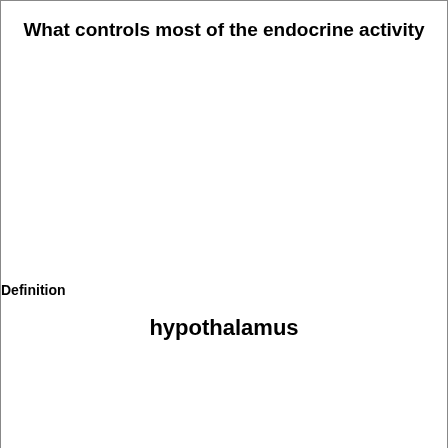What controls most of the endocrine activity
Definition
hypothalamus
Term